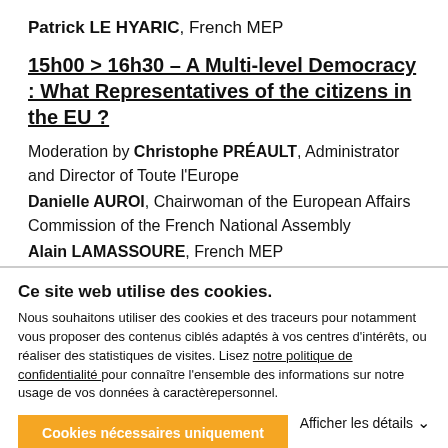Patrick LE HYARIC, French MEP
15h00 > 16h30 – A Multi-level Democracy : What Representatives of the citizens in the EU ?
Moderation by Christophe PRÉAULT, Administrator and Director of Toute l'Europe
Danielle AUROI, Chairwoman of the European Affairs Commission of the French National Assembly
Alain LAMASSOURE, French MEP
Ce site web utilise des cookies.
Nous souhaitons utiliser des cookies et des traceurs pour notamment vous proposer des contenus ciblés adaptés à vos centres d'intérêts, ou réaliser des statistiques de visites. Lisez notre politique de confidentialité pour connaître l'ensemble des informations sur notre usage de vos données à caractèrepersonnel.
Cookies nécessaires uniquement
Autoriser tous les cookies
Afficher les détails